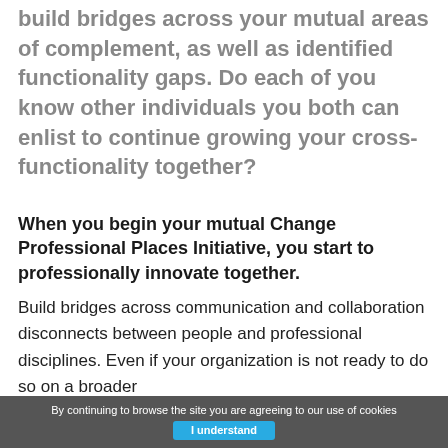build bridges across your mutual areas of complement, as well as identified functionality gaps. Do each of you know other individuals you both can enlist to continue growing your cross-functionality together?
When you begin your mutual Change Professional Places Initiative, you start to professionally innovate together.
Build bridges across communication and collaboration disconnects between people and professional disciplines. Even if your organization is not ready to do so on a broader
By continuing to browse the site you are agreeing to our use of cookies  I understand